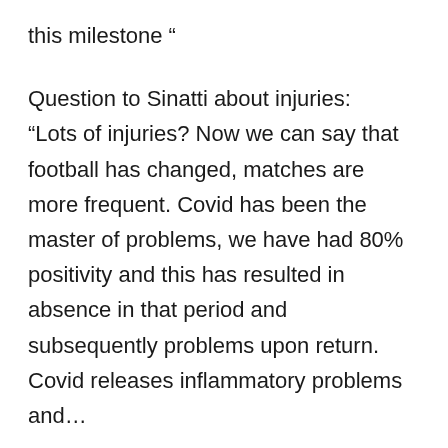this milestone “
Question to Sinatti about injuries: “Lots of injuries? Now we can say that football has changed, matches are more frequent. Covid has been the master of problems, we have had 80% positivity and this has resulted in absence in that period and subsequently problems upon return. Covid releases inflammatory problems and… The differentiation of